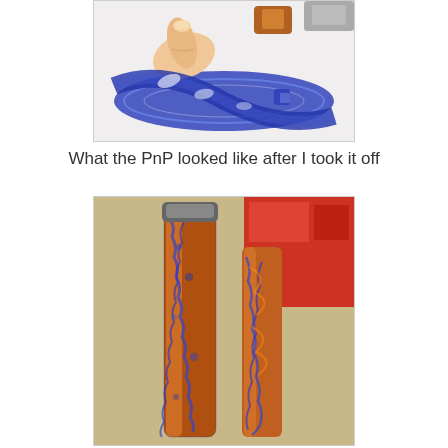[Figure (photo): Close-up photo of a hand holding blue lace/patterned material being peeled off, with orange/copper colored pieces visible, on a white surface.]
What the PnP looked like after I took it off
[Figure (photo): Two cylindrical tubes/mods with decorative blue and orange/gold patterned wrapping, standing upright on a workbench. Red toolbox and small container visible in background.]